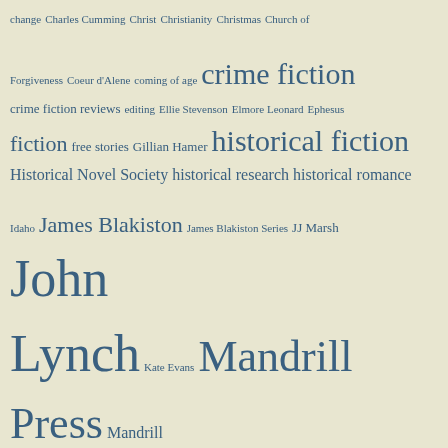[Figure (infographic): Tag cloud with literary topics in varying font sizes on a beige/cream background. Topics include crime fiction, historical fiction, John Lynch, Mandrill Press, Sharon Wright: Butterfly, Zappa's Mam's a Slapper, James Blakiston, and many others. Font size indicates tag frequency/importance.]